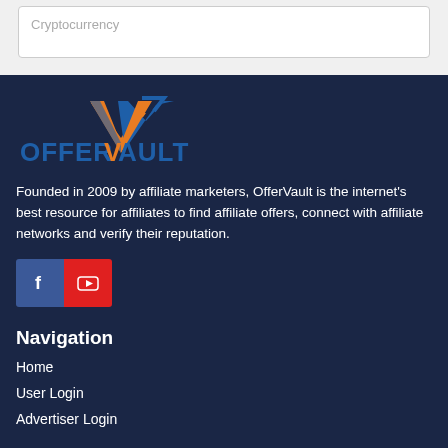Cryptocurrency
[Figure (logo): OfferVault logo with orange and blue V checkmark above blue text OFFERVAULT]
Founded in 2009 by affiliate marketers, OfferVault is the internet's best resource for affiliates to find affiliate offers, connect with affiliate networks and verify their reputation.
[Figure (other): Facebook and YouTube social media icon buttons]
Navigation
Home
User Login
Advertiser Login